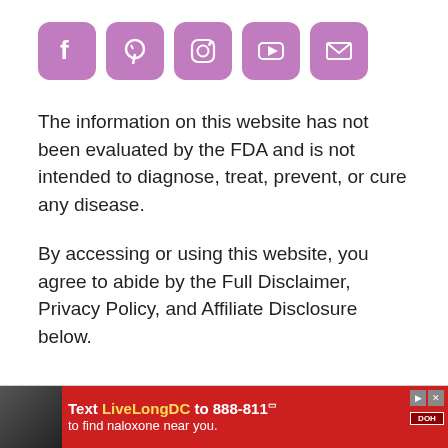[Figure (illustration): Five purple rounded-square social media icons in a row: Facebook (f), Pinterest (p), Instagram (camera), YouTube (play button), Email (envelope)]
The information on this website has not been evaluated by the FDA and is not intended to diagnose, treat, prevent, or cure any disease.
By accessing or using this website, you agree to abide by the Full Disclaimer, Privacy Policy, and Affiliate Disclosure below.
[Figure (infographic): Red advertisement banner at bottom: Text LiveLongDC to 888-811 to find naloxone near you. Features photo of person, yellow highlighted text, and DC DOH logo.]